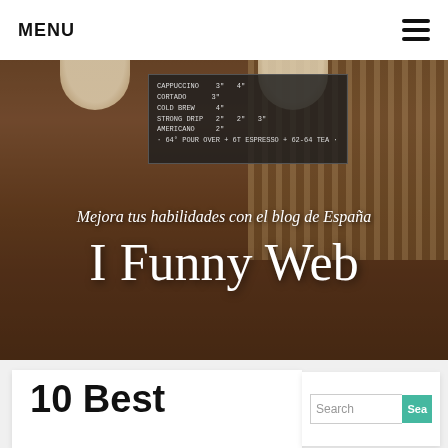MENU
[Figure (photo): Hero image of a café interior with a person in a white hat viewed from behind, warm wood tones, vertical stripe wall, pendant lamps, and a chalkboard menu board. Overlaid text reads 'Mejora tus habilidades con el blog de España' and 'I Funny Web'.]
Mejora tus habilidades con el blog de España
I Funny Web
10 Best
Search